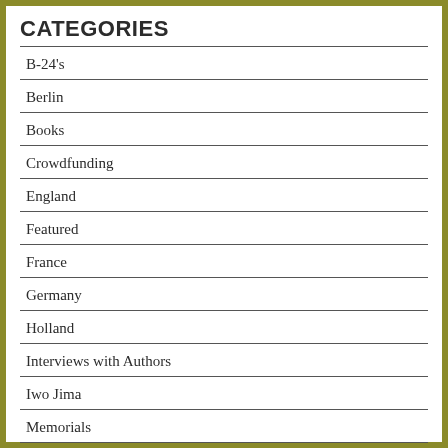CATEGORIES
B-24's
Berlin
Books
Crowdfunding
England
Featured
France
Germany
Holland
Interviews with Authors
Iwo Jima
Memorials
Normandy